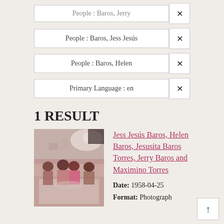People : Baros, Jess Jesús ×
People : Baros, Helen ×
Primary Language : en ×
1 RESULT
[Figure (photo): Vintage photograph showing a group of people seated and standing around a dining table in a kitchen setting, tinted pink/sepia.]
Jess Jesús Baros, Helen Baros, Jesusita Baros Torres, Jerry Baros and Maximino Torres
Date: 1958-04-25
Format: Photograph